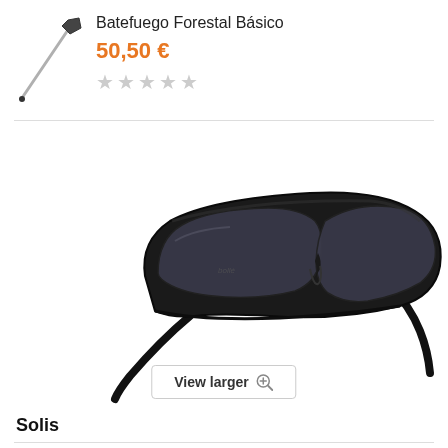[Figure (photo): Small thumbnail image of a fire beater tool (Batefuego Forestal Básico) — a long-handled implement with a dark paddle head, shown diagonally on white background]
Batefuego Forestal Básico
50,50 €
[Figure (photo): Five empty/unfilled star rating icons in light gray, indicating no reviews yet]
[Figure (photo): Main product photo: a pair of black wraparound sports/safety sunglasses (Bollé brand) with dark smoke lenses, shown at an angle on white background]
View larger
Solis